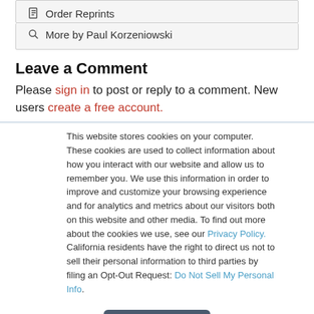Order Reprints
More by Paul Korzeniowski
Leave a Comment
Please sign in to post or reply to a comment. New users create a free account.
This website stores cookies on your computer. These cookies are used to collect information about how you interact with our website and allow us to remember you. We use this information in order to improve and customize your browsing experience and for analytics and metrics about our visitors both on this website and other media. To find out more about the cookies we use, see our Privacy Policy. California residents have the right to direct us not to sell their personal information to third parties by filing an Opt-Out Request: Do Not Sell My Personal Info.
Accept